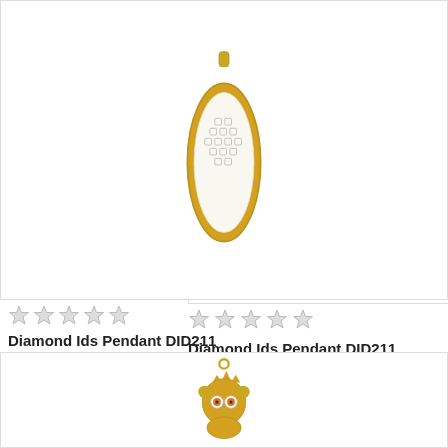[Figure (photo): Gold marquise-shaped pendant with white enamel and diamond studded pattern, with gold bail at top]
[Figure (other): Star rating widget showing 0 out of 5 stars (5 empty stars)]
Diamond Ids Pendant DID211
INR15353.00
Market price: INR20471.00 save 25%
[Figure (other): QTY selector with 1 selected, add to cart button with cart icon, and wishlist heart button]
[Figure (photo): Gold owl-shaped charm pendant with orange gemstone eyes and crown on top]